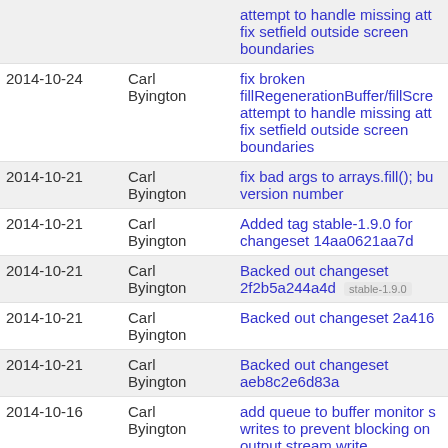| Date | Author | Message |
| --- | --- | --- |
|  |  | attempt to handle missing att fix setfield outside screen boundaries |
| 2014-10-24 | Carl Byington | fix broken fillRegenerationBuffer/fillScre attempt to handle missing att fix setfield outside screen boundaries |
| 2014-10-21 | Carl Byington | fix bad args to arrays.fill(); bu version number |
| 2014-10-21 | Carl Byington | Added tag stable-1.9.0 for changeset 14aa0621aa7d |
| 2014-10-21 | Carl Byington | Backed out changeset 2f2b5a244a4d [stable-1.9.0] |
| 2014-10-21 | Carl Byington | Backed out changeset 2a416 |
| 2014-10-21 | Carl Byington | Backed out changeset aeb8c2e6d83a |
| 2014-10-16 | Carl Byington | add queue to buffer monitor s writes to prevent blocking on output stream write |
| 2014-10-16 | Carl Byington | add queue to buffer monitor s writes to prevent blocking on output stream write |
| 2014-10-16 | Carl Byington | add queue to buffer monitor s writes to prevent blocking on output stream write |